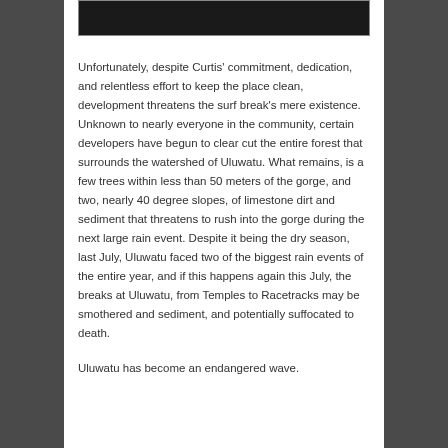[Figure (photo): Dark photograph showing a dark surface, partially visible at top of page]
Unfortunately, despite Curtis' commitment, dedication, and relentless effort to keep the place clean, development threatens the surf break's mere existence.  Unknown to nearly everyone in the community, certain developers have begun to clear cut the entire forest that surrounds the watershed of Uluwatu.  What remains, is a few trees within less than 50 meters of the gorge, and two, nearly 40 degree slopes, of limestone dirt and sediment that threatens to rush into the gorge during the next large rain event. Despite it being the dry season, last July, Uluwatu faced two of the biggest rain events of the entire year, and if this happens again this July, the breaks at Uluwatu, from Temples to Racetracks may be smothered and sediment, and potentially suffocated to death.
Uluwatu has become an endangered wave.